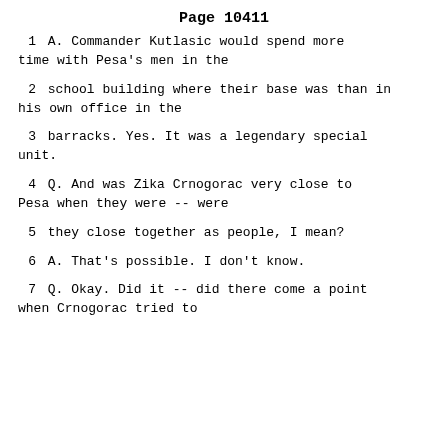Page 10411
1    A.    Commander Kutlasic would spend more time with Pesa's men in the
2      school building where their base was than in his own office in the
3      barracks.  Yes.  It was a legendary special unit.
4          Q.    And was Zika Crnogorac very close to Pesa when they were -- were
5      they close together as people, I mean?
6          A.    That's possible.  I don't know.
7          Q.    Okay.  Did it -- did there come a point when Crnogorac tried to